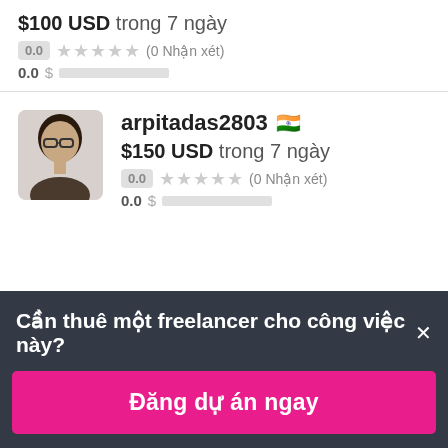$100 USD trong 7 ngày
0.0 ★★★★★ (0 Nhận xét)
0.0 $██████████
arpitadas2803 🇮🇳
$150 USD trong 7 ngày
0.0 ★★★★★ (0 Nhận xét)
0.0 $██████████
Cần thuê một freelancer cho công việc này? ×
Đăng dự án ngay